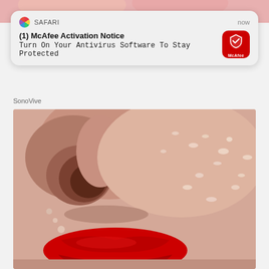[Figure (screenshot): Top decorative banner with pink/skin-tone gradient background]
SAFARI  now
(1) McAfee Activation Notice
Turn On Your Antivirus Software To Stay Protected
SonoVive
[Figure (photo): Close-up macro photo of a woman's face showing nose and bright red lips, with dry/flaky skin texture visible on cheek]